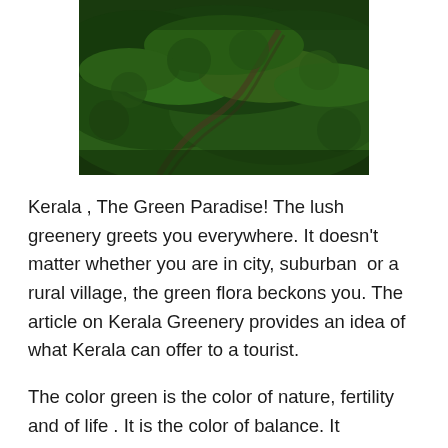[Figure (photo): Aerial photograph of lush green tea plantation hills in Kerala, showing dense green foliage with winding paths through the terraced landscape.]
Kerala , The Green Paradise! The lush greenery greets you everywhere. It doesn't matter whether you are in city, suburban  or a rural village, the green flora beckons you. The article on Kerala Greenery provides an idea of what Kerala can offer to a tourist.
The color green is the color of nature, fertility and of life . It is the color of balance. It